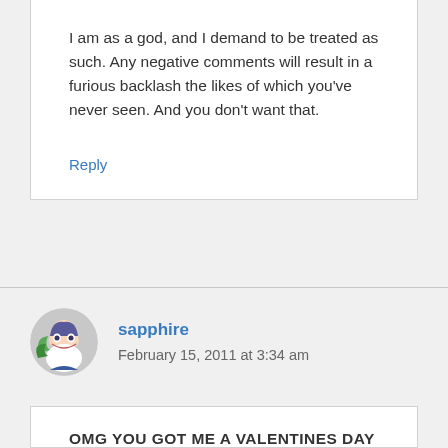I am as a god, and I demand to be treated as such. Any negative comments will result in a furious backlash the likes of which you've never seen. And you don't want that.
Reply
sapphire
February 15, 2011 at 3:34 am
OMG YOU GOT ME A VALENTINES DAY